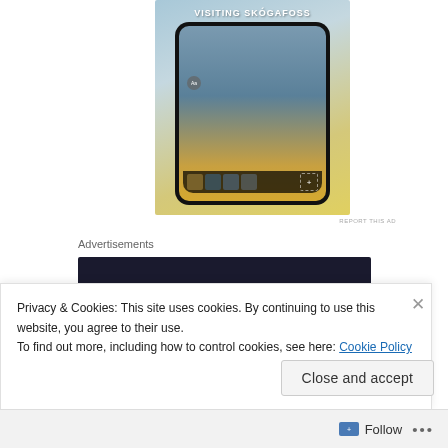[Figure (screenshot): Mobile app screenshot showing 'VISITING SKÓGAFOSS' title with a phone displaying a waterfall scene and a person in yellow jacket, on a blue-yellow gradient background]
REPORT THIS AD
Advertisements
[Figure (screenshot): Dark banner advertisement showing 'Turn your blog' text in teal italic serif font on dark navy background]
Privacy & Cookies: This site uses cookies. By continuing to use this website, you agree to their use.
To find out more, including how to control cookies, see here: Cookie Policy
Close and accept
Follow